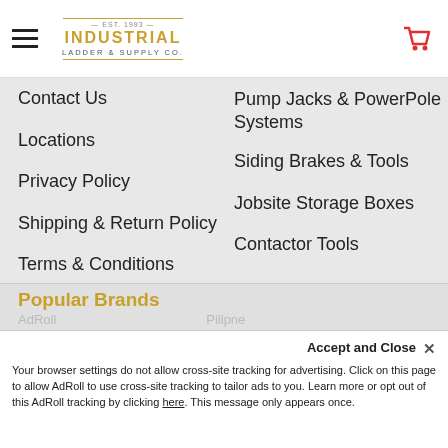Industrial Ladder & Supply Co. — navigation header with hamburger menu and cart icon
Contact Us
Pump Jacks & PowerPole Systems
Locations
Siding Brakes & Tools
Privacy Policy
Jobsite Storage Boxes
Shipping & Return Policy
Contactor Tools
Terms & Conditions
Resources
Van Upfit Gallery
Need Some Help?
Sitemap
Popular Brands
AdRoll  |  Pillpne
Your browser settings do not allow cross-site tracking for advertising. Click on this page to allow AdRoll to use cross-site tracking to tailor ads to you. Learn more or opt out of this AdRoll tracking by clicking here. This message only appears once.